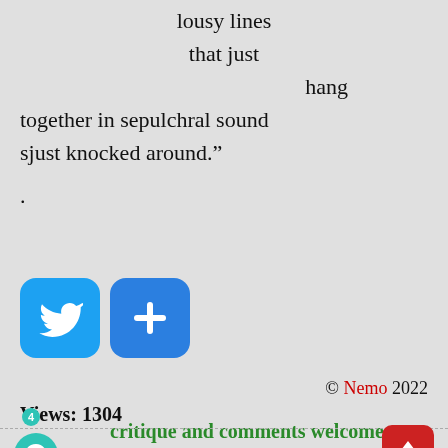lousy lines
    that just
        hang
together in sepulchral sound
sjust knocked around."
.
[Figure (logo): Twitter bird icon (blue rounded square) and a blue plus button icon]
© Nemo 2022
Views: 1304
critique and comments welcome.
4 comments
[Figure (other): Comment bubble icon (teal circle) with badge number 4, and red upload arrow button]